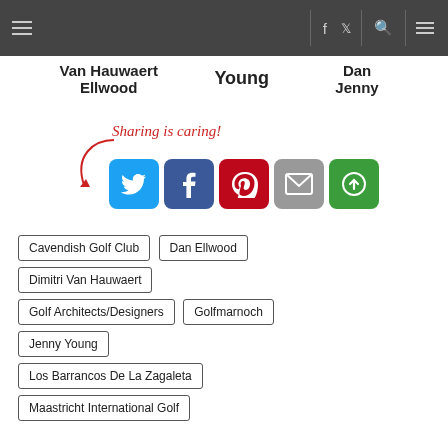Navigation bar with menu, facebook, twitter, search, and additional menu icons
Van Hauwaert
Ellwood
Young
Dan
Jenny
[Figure (infographic): Sharing is caring! social share buttons: Twitter, Facebook, Pinterest, Email, More]
Cavendish Golf Club
Dan Ellwood
Dimitri Van Hauwaert
Golf Architects/Designers
Golfmarnoch
Jenny Young
Los Barrancos De La Zagaleta
Maastricht International Golf